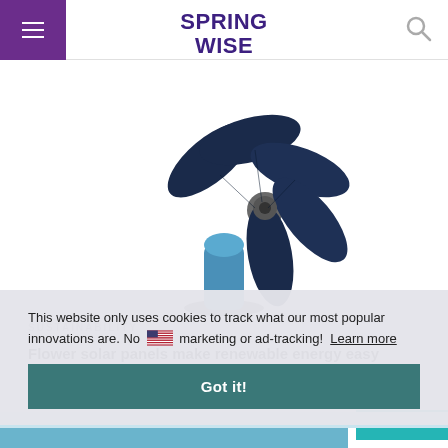SPRINGWISE
[Figure (photo): A blue flower-shaped solar panel device on a teal/blue pedestal stand, viewed from behind at an angle, showing dark navy blue petals/panels against a white background.]
SUSTAINABILITY
Flower solar panels make renewable energy easy
This website only uses cookies to track what our most popular innovations are. No marketing or ad-tracking!  Learn more
Got it!